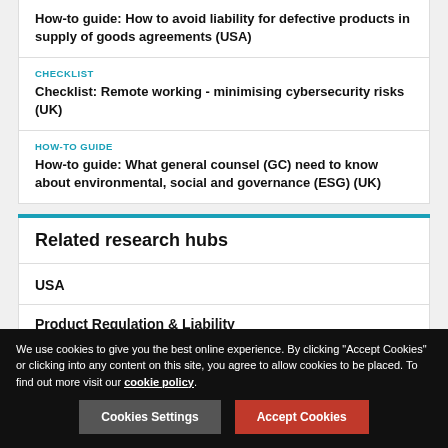HOW-TO GUIDE
How-to guide: How to avoid liability for defective products in supply of goods agreements (USA)
CHECKLIST
Checklist: Remote working - minimising cybersecurity risks (UK)
HOW-TO GUIDE
How-to guide: What general counsel (GC) need to know about environmental, social and governance (ESG) (UK)
Related research hubs
USA
Product Regulation & Liability
We use cookies to give you the best online experience. By clicking "Accept Cookies" or clicking into any content on this site, you agree to allow cookies to be placed. To find out more visit our cookie policy.